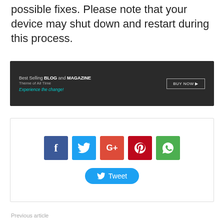possible fixes. Please note that your device may shut down and restart during this process.
[Figure (screenshot): Dark advertisement banner for Best Selling BLOG and MAGAZINE Theme of All Time with 'Experience the change!' tagline and 'BUY NOW' button]
[Figure (screenshot): Social sharing widget with Facebook, Twitter, Google+, Pinterest, and WhatsApp icon buttons, and a Tweet button below]
Previous article
Gacha Life Pictures For Drawing